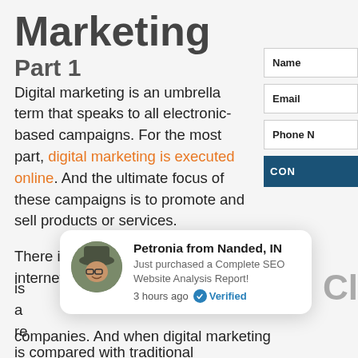Marketing
Part 1
Digital marketing is an umbrella term that speaks to all electronic-based campaigns. For the most part, digital marketing is executed online. And the ultimate focus of these campaigns is to promote and sell products or services.
There is no question that the internet is [partially obscured] and [partially obscured] re[partially obscured] companies. And when digital marketing is compared with traditional
[Figure (other): Notification popup showing Petronia from Nanded, IN who just purchased a Complete SEO Website Analysis Report, 3 hours ago, Verified]